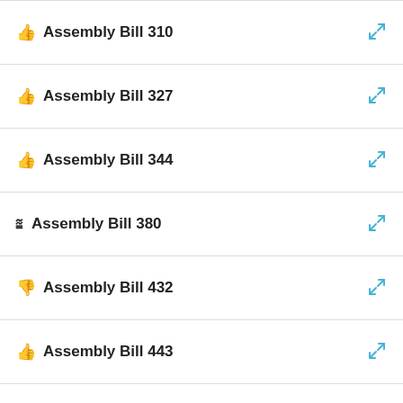Assembly Bill 310
Assembly Bill 327
Assembly Bill 344
Assembly Bill 380
Assembly Bill 432
Assembly Bill 443
Assembly Bill 455
Assembly Bill 457